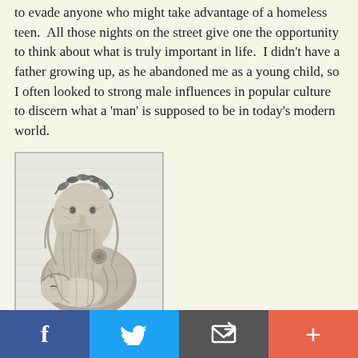to evade anyone who might take advantage of a homeless teen.  All those nights on the street give one the opportunity to think about what is truly important in life.  I didn't have a father growing up, as he abandoned me as a young child, so I often looked to strong male influences in popular culture to discern what a 'man' is supposed to be in today's modern world.
[Figure (illustration): A black and white engraving depicting a bearded elderly man wearing a floral wreath crown, holding or cradling a young child or infant. The style is classical/mythological engraving.]